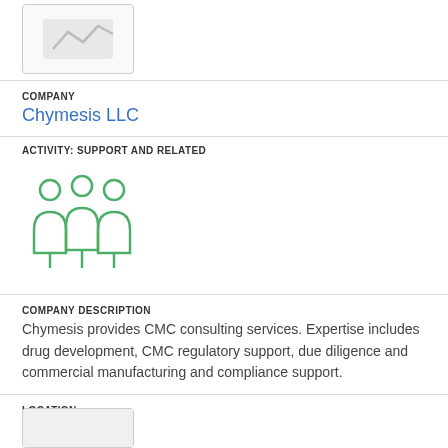[Figure (logo): Company logo placeholder image (partial, top-cropped)]
COMPANY
Chymesis LLC
ACTIVITY: SUPPORT AND RELATED
[Figure (illustration): Green icon of three people (group/team icon) representing support and related activity]
COMPANY DESCRIPTION
Chymesis provides CMC consulting services. Expertise includes drug development, CMC regulatory support, due diligence and commercial manufacturing and compliance support.
LOCATION
Greensboro
[Figure (logo): Company logo placeholder (partial, bottom of page)]